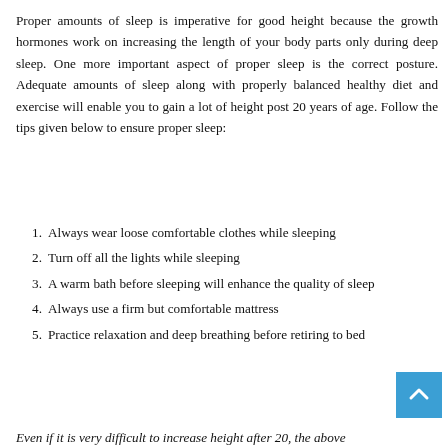Proper amounts of sleep is imperative for good height because the growth hormones work on increasing the length of your body parts only during deep sleep. One more important aspect of proper sleep is the correct posture. Adequate amounts of sleep along with properly balanced healthy diet and exercise will enable you to gain a lot of height post 20 years of age. Follow the tips given below to ensure proper sleep:
Always wear loose comfortable clothes while sleeping
Turn off all the lights while sleeping
A warm bath before sleeping will enhance the quality of sleep
Always use a firm but comfortable mattress
Practice relaxation and deep breathing before retiring to bed
Even if it is very difficult to increase height after 20, the above